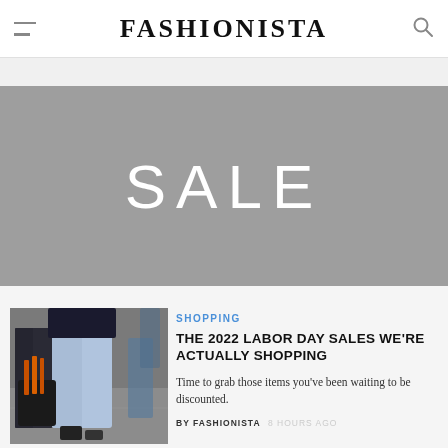FASHIONISTA
[Figure (illustration): Gray sale category banner with large white text reading SALE]
[Figure (photo): Street style photo showing person holding a black bag with orange straps, wearing dark jeans and light blue wide-leg jeans visible in background]
SHOPPING
THE 2022 LABOR DAY SALES WE'RE ACTUALLY SHOPPING
Time to grab those items you've been waiting to be discounted.
BY FASHIONISTA